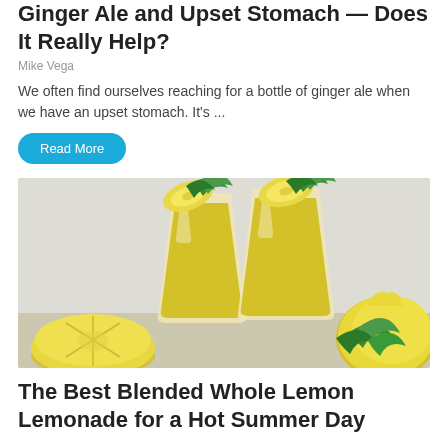Ginger Ale and Upset Stomach — Does It Really Help?
Mike Vega
We often find ourselves reaching for a bottle of ginger ale when we have an upset stomach. It's ...
Read More
[Figure (photo): Two glasses of blended lemon lemonade with lemon slices and mint garnish, surrounded by lemons and mint leaves on a white surface.]
The Best Blended Whole Lemon Lemonade for a Hot Summer Day